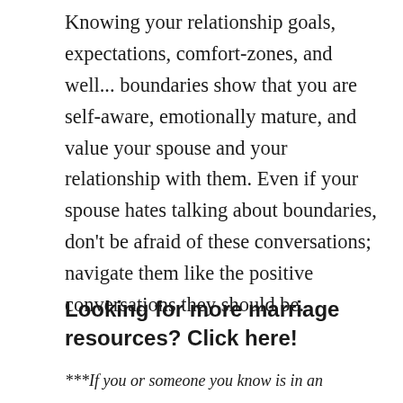Knowing your relationship goals, expectations, comfort-zones, and well... boundaries show that you are self-aware, emotionally mature, and value your spouse and your relationship with them. Even if your spouse hates talking about boundaries, don't be afraid of these conversations; navigate them like the positive conversations they should be.
Looking for more marriage resources? Click here!
***If you or someone you know is in an